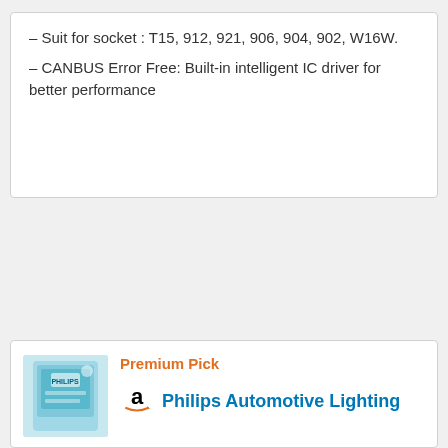– Suit for socket : T15, 912, 921, 906, 904, 902, W16W.
– CANBUS Error Free: Built-in intelligent IC driver for better performance
Premium Pick
[Figure (photo): Product image of Philips automotive lighting bulb package in teal/green packaging]
Philips Automotive Lighting